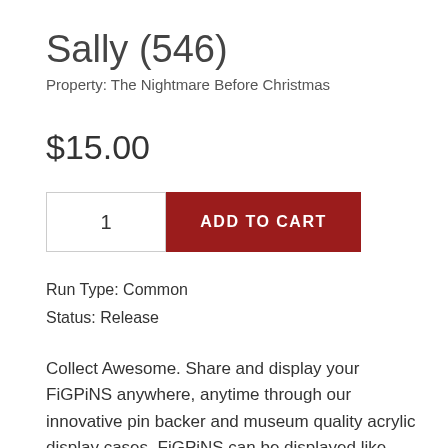Sally (546)
Property: The Nightmare Before Christmas
$15.00
1  ADD TO CART
Run Type: Common
Status: Release
Collect Awesome. Share and display your FiGPiNS anywhere, anytime through our innovative pin backer and museum quality acrylic display cases. FiGPiNS can be displayed like your most coveted figure or worn as your favorite accessory. Pin them to your favorite bag or jacket